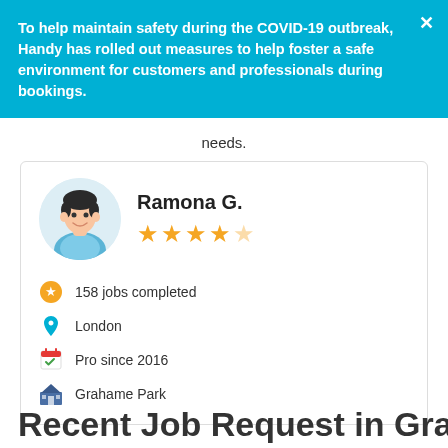To help maintain safety during the COVID-19 outbreak, Handy has rolled out measures to help foster a safe environment for customers and professionals during bookings.
needs.
[Figure (infographic): Profile card for Ramona G. with avatar illustration, 4.5 star rating, 158 jobs completed, London location, Pro since 2016, Grahame Park neighborhood]
Recent Job Request in Grahame Park